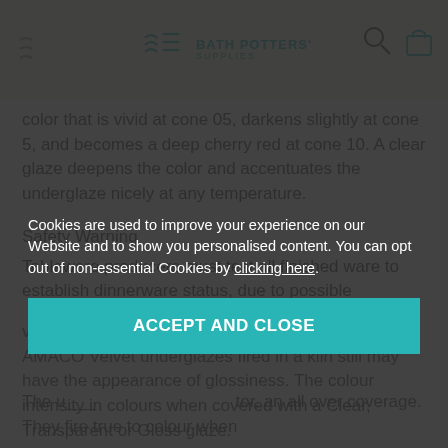Bath Potters' Supplies
color that is vivid at cone 05, darkens slightly at cone 5, and becomes a deep cherry red at cone 10. A clear glaze deepens the color and accentuates the underglaze nicely at any temperature.
Safety Warning
Tableware producers must test all finished ware to establish dinnerware status, due to possible variations in firing temperature and contamination. AMACO Velvet underglazes fired in a kiln still may have the appearance of glossiness. The colour intensity in colours when covered with a Clear, Transparent or Gloss glaze.
Cookies are used to improve your experience on our Website and to show you personalised content. You can opt out of non-essential Cookies by clicking here.
ACCEPT AND CLOSE
The u__ _____ ___ _____ ___ _____ _____ ___tor, an all over coverage. They fire true to colour when